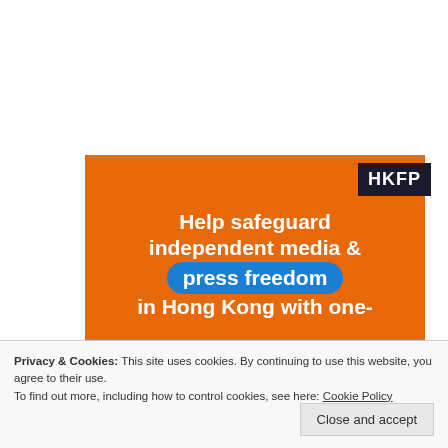[Figure (illustration): Orange HKFP promotional banner with text 'Help safeguard independent media & press freedom in Hong Kong with one-' and HKFP logo in dark box at top right]
Privacy & Cookies: This site uses cookies. By continuing to use this website, you agree to their use.
To find out more, including how to control cookies, see here: Cookie Policy
Close and accept